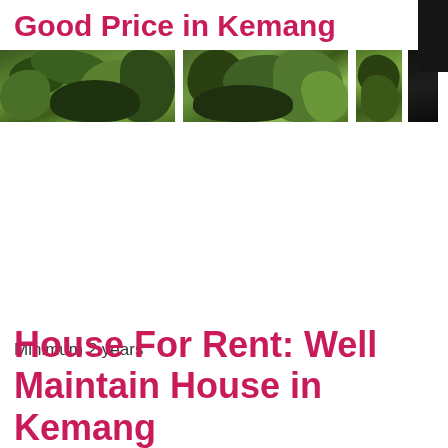Good Price in Kemang
[Figure (photo): Horizontal photo strip showing tropical/garden vegetation with green foliage and plants, split into multiple segments]
Minimum 2 years
House For Rent: Well Maintain House in Kemang